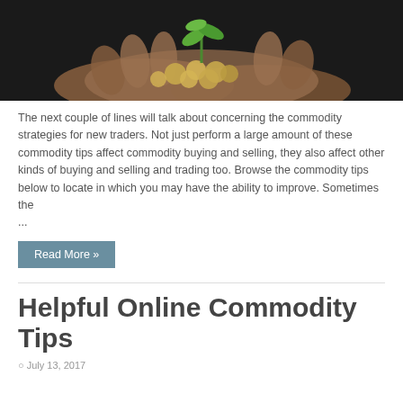[Figure (photo): Hands holding coins with a small green plant growing from them, suggesting investment and growth. Dark background.]
The next couple of lines will talk about concerning the commodity strategies for new traders. Not just perform a large amount of these commodity tips affect commodity buying and selling, they also affect other kinds of buying and selling and trading too. Browse the commodity tips below to locate in which you may have the ability to improve. Sometimes the ...
Read More »
Helpful Online Commodity Tips